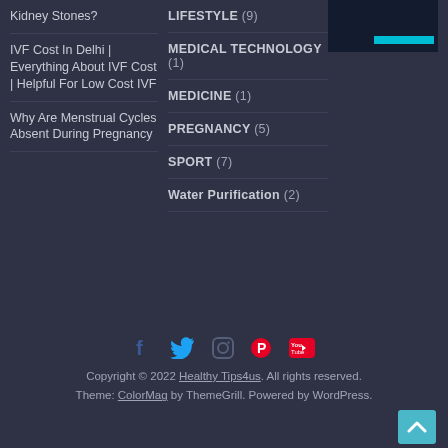Kidney Stones?
IVF Cost In Delhi | Everything About IVF Cost | Helpful For Low Cost IVF
Why Are Menstrual Cycles Absent During Pregnancy
LIFESTYLE (9)
MEDICAL TECHNOLOGY (1)
MEDICINE (1)
PREGNANCY (5)
SPORT (7)
Water Purification (2)
[Figure (illustration): Dark navy image with a teal/cyan bar graphic element]
[Figure (infographic): Social media icons: Facebook (blue), Twitter (blue), Instagram (dark), Pinterest (red), YouTube (red)]
Copyright © 2022 Healthy Tips4us. All rights reserved. Theme: ColorMag by ThemeGrill. Powered by WordPress.